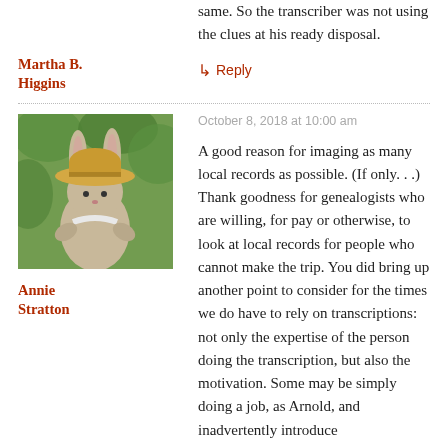same. So the transcriber was not using the clues at his ready disposal.
Martha B. Higgins
↳ Reply
October 8, 2018 at 10:00 am
[Figure (photo): Avatar photo of Annie Stratton showing a bunny plush toy wearing a straw hat, photographed outdoors with green foliage in background.]
Annie Stratton
A good reason for imaging as many local records as possible. (If only. . .) Thank goodness for genealogists who are willing, for pay or otherwise, to look at local records for people who cannot make the trip. You did bring up another point to consider for the times we do have to rely on transcriptions: not only the expertise of the person doing the transcription, but also the motivation. Some may be simply doing a job, as Arnold, and inadvertently introduce